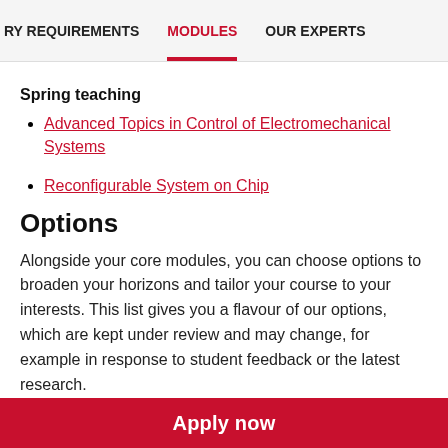RY REQUIREMENTS   MODULES   OUR EXPERTS
Spring teaching
Advanced Topics in Control of Electromechanical Systems
Reconfigurable System on Chip
Options
Alongside your core modules, you can choose options to broaden your horizons and tailor your course to your interests. This list gives you a flavour of our options, which are kept under review and may change, for example in response to student feedback or the latest research.
Apply now